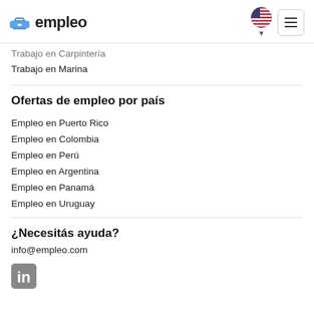empleo
Trabajo en Carpintería
Trabajo en Marina
Ofertas de empleo por país
Empleo en Puerto Rico
Empleo en Colombia
Empleo en Perú
Empleo en Argentina
Empleo en Panamá
Empleo en Uruguay
¿Necesitás ayuda?
info@empleo.com
[Figure (logo): LinkedIn logo icon]